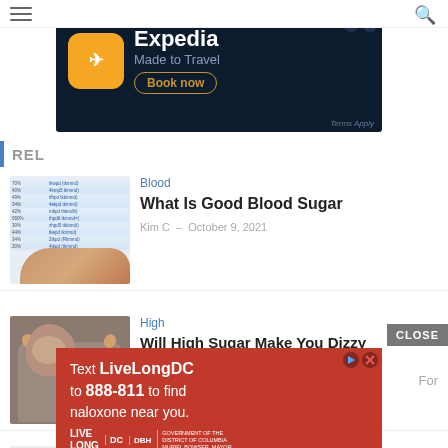[Figure (screenshot): Expedia advertisement banner with dark blue background, Expedia logo, 'Made to Travel' tagline, and 'Book now' button]
REL
[Figure (photo): Thumbnail of blood sugar chart table with a hand pointing to it]
Blood
What Is Good Blood Sugar
Kim C  -  October 9, 2021
[Figure (photo): Thumbnail of a man holding his head appearing dizzy]
High
Will High Sugar Make You Dizzy
Kim C  -  October 3, 2021
Featured
[Figure (screenshot): LiveLongDC advertisement with red background promoting naloxone: 'Text LiveLongDC to 888-811 to find naloxone near you']